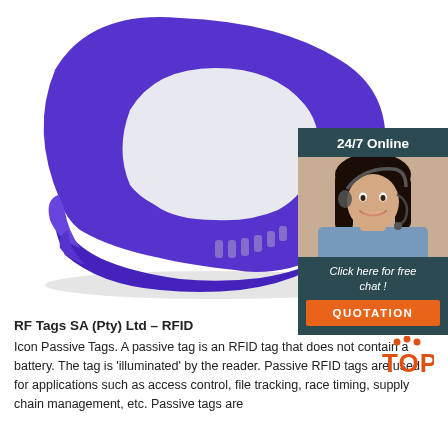[Figure (photo): Purple/violet silicone RFID wristband on white background, showing the buckle and ventilation slots]
[Figure (infographic): 24/7 Online chat widget overlay showing a smiling female customer service agent with headset, text 'Click here for free chat!' and an orange QUOTATION button]
RF Tags SA (Pty) Ltd – RFID
Icon Passive Tags. A passive tag is an RFID tag that does not contain a battery. The tag is 'illuminated' by the reader. Passive RFID tags are used for applications such as access control, file tracking, race timing, supply chain management, etc. Passive tags are
[Figure (logo): TOP logo with orange dots and letters]